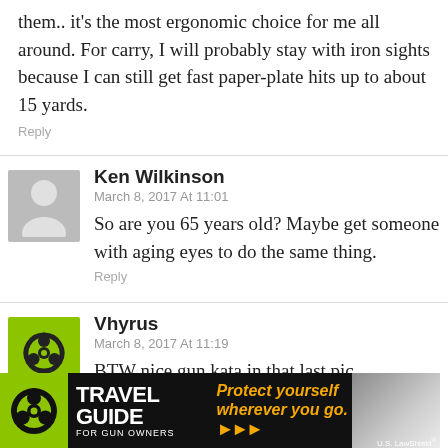them.. it's the most ergonomic choice for me all around. For carry, I will probably stay with iron sights because I can still get fast paper-plate hits up to about 15 yards.
Reply
Ken Wilkinson
March 8, 2017 At 11:01
So are you 65 years old? Maybe get someone with aging eyes to do the same thing.
Reply
Vhyrus
March 8, 2017 At 11:19
BTW nice gun kata in that last pic.
[Figure (photo): Travel Guide for Gun Owners advertisement banner with U.S. LawShield branding. Yellow-green left panel with biohazard symbol. Text reads: TRAVEL GUIDE FOR GUN OWNERS. Center slogan: Protect yourself wherever you go. Orange arrows. Right side shows blurred outdoor image with U.S. LawShield logo.]